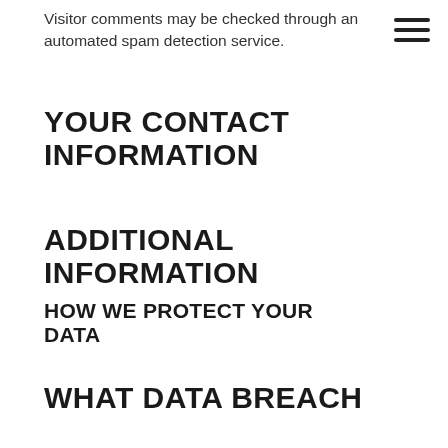Visitor comments may be checked through an automated spam detection service.
YOUR CONTACT INFORMATION
ADDITIONAL INFORMATION
HOW WE PROTECT YOUR DATA
WHAT DATA BREACH